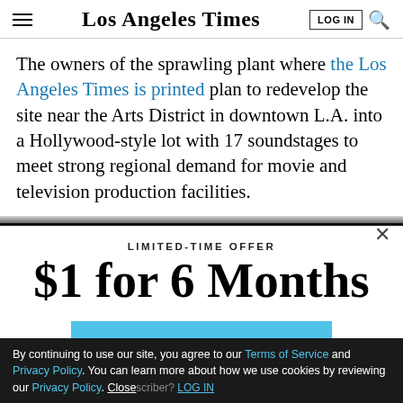Los Angeles Times
The owners of the sprawling plant where the Los Angeles Times is printed plan to redevelop the site near the Arts District in downtown L.A. into a Hollywood-style lot with 17 soundstages to meet strong regional demand for movie and television production facilities.
LIMITED-TIME OFFER
$1 for 6 Months
SUBSCRIBE NOW
By continuing to use our site, you agree to our Terms of Service and Privacy Policy. You can learn more about how we use cookies by reviewing our Privacy Policy. Close
Already a subscriber? LOG IN